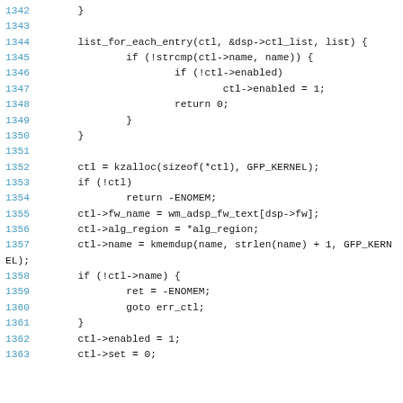Source code listing, lines 1342-1363, C kernel code